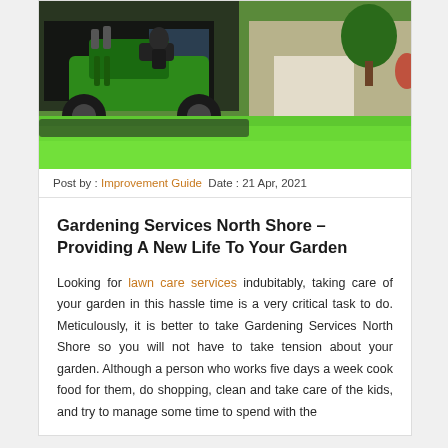[Figure (photo): A green commercial lawn mower in action on a bright green lawn in front of a suburban house with a truck visible in the background.]
Post by : Improvement Guide  Date : 21 Apr, 2021
Gardening Services North Shore – Providing A New Life To Your Garden
Looking for lawn care services indubitably, taking care of your garden in this hassle time is a very critical task to do. Meticulously, it is better to take Gardening Services North Shore so you will not have to take tension about your garden. Although a person who works five days a week cook food for them, do shopping, clean and take care of the kids, and try to manage some time to spend with the family, there is no time left for a garden.